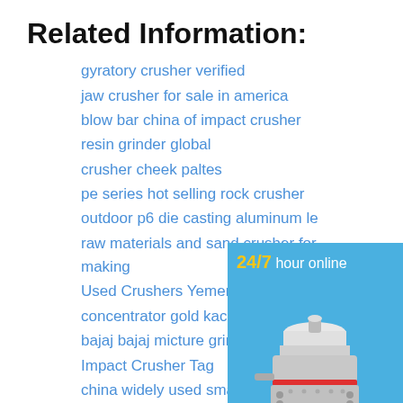Related Information:
gyratory crusher verified
jaw crusher for sale in america
blow bar china of impact crusher
resin grinder global
crusher cheek paltes
pe series hot selling rock crusher
outdoor p6 die casting aluminum le
raw materials and sand crusher for making
Used Crushers Yemen For Sale
concentrator gold kacha
bajaj bajaj micture grinder price
Impact Crusher Tag
china widely used small vibrating cr
niro dryers spray dia new used and equipment
vibrating feeder for iron ore heavy
[Figure (illustration): 24/7 hour online banner with cone crusher machine image, Click me to chat>> button, Enquiry section, and limingjlmofen text on blue background]